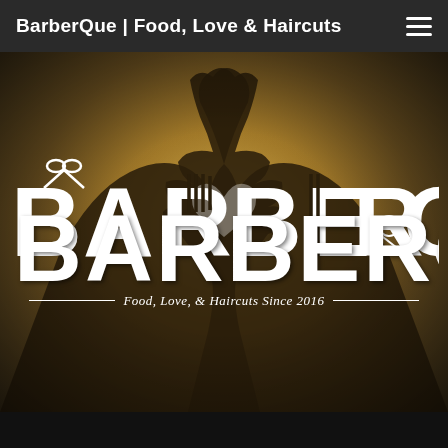BarberQue | Food, Love & Haircuts
[Figure (logo): BarberQue logo over a warm golden-toned photo of two hands forming a heart shape. Large white block lettering reads BARBERQUE with barber-themed decorative elements (scissors above the A, comb stripes in E and R letters, a comb/scissors icon). Below in italic script: Food, Love, & Haircuts Since 2016, flanked by horizontal lines.]